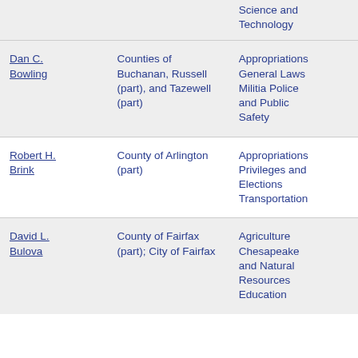| Name | District | Committees |
| --- | --- | --- |
| [partial] Science and Technology |  |  |
| Dan C. Bowling | Counties of Buchanan, Russell (part), and Tazewell (part) | Appropriations
General Laws
Militia Police and Public Safety |
| Robert H. Brink | County of Arlington (part) | Appropriations
Privileges and Elections
Transportation |
| David L. Bulova | County of Fairfax (part); City of Fairfax | Agriculture
Chesapeake and Natural Resources
Education |